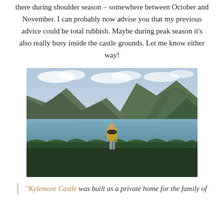there during shoulder season – somewhere between October and November. I can probably now advise you that my previous advice could be total rubbish. Maybe during peak season it's also really busy inside the castle grounds. Let me know either way!
[Figure (photo): Woman in yellow coat and black scarf standing in front of a lake with mountains and cloudy sky in the background, likely near Kylemore Castle in Ireland.]
"Kylemore Castle was built as a private home for the family of